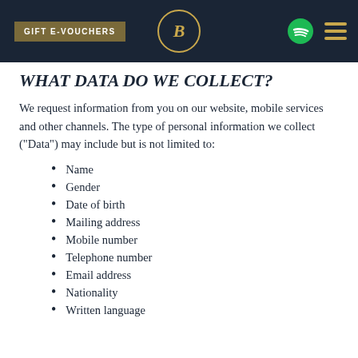GIFT E-VOUCHERS
WHAT DATA DO WE COLLECT?
We request information from you on our website, mobile services and other channels. The type of personal information we collect ("Data") may include but is not limited to:
Name
Gender
Date of birth
Mailing address
Mobile number
Telephone number
Email address
Nationality
Written language